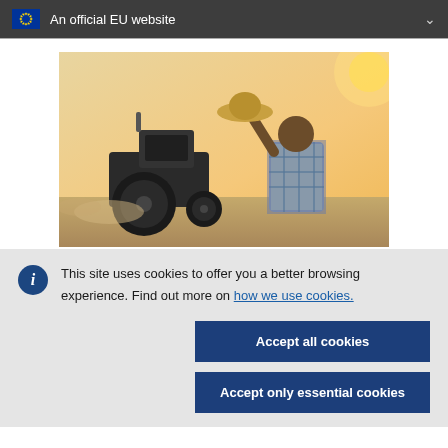An official EU website
[Figure (photo): A farmer viewed from behind, wearing a plaid shirt and raising a straw hat, standing in front of a tractor in a sunny field.]
This site uses cookies to offer you a better browsing experience. Find out more on how we use cookies.
Accept all cookies
Accept only essential cookies